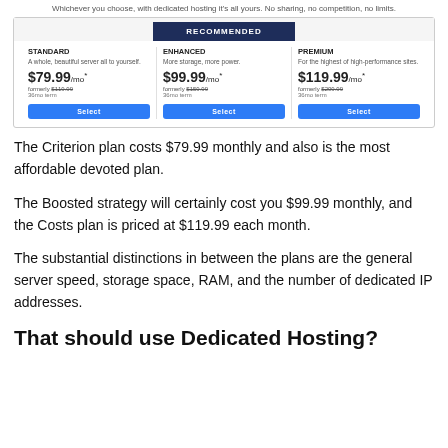Whichever you choose, with dedicated hosting it's all yours. No sharing, no competition, no limits.
[Figure (infographic): Pricing table showing three dedicated hosting plans: Standard at $79.99/mo*, Enhanced (Recommended) at $99.99/mo*, and Premium at $119.99/mo*, each with a Select button.]
The Criterion plan costs $79.99 monthly and also is the most affordable devoted plan.
The Boosted strategy will certainly cost you $99.99 monthly, and the Costs plan is priced at $119.99 each month.
The substantial distinctions in between the plans are the general server speed, storage space, RAM, and the number of dedicated IP addresses.
That should use Dedicated Hosting?